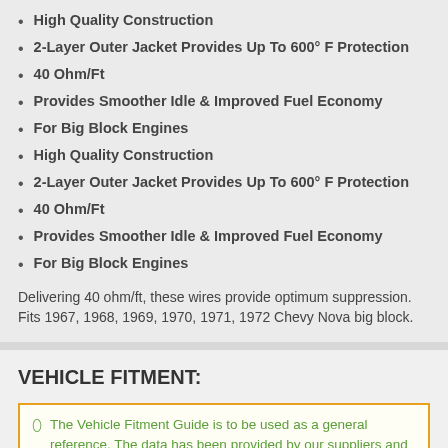High Quality Construction
2-Layer Outer Jacket Provides Up To 600° F Protection
40 Ohm/Ft
Provides Smoother Idle & Improved Fuel Economy
For Big Block Engines
High Quality Construction
2-Layer Outer Jacket Provides Up To 600° F Protection
40 Ohm/Ft
Provides Smoother Idle & Improved Fuel Economy
For Big Block Engines
Delivering 40 ohm/ft, these wires provide optimum suppression. Fits 1967, 1968, 1969, 1970, 1971, 1972 Chevy Nova big block.
VEHICLE FITMENT:
The Vehicle Fitment Guide is to be used as a general reference. The data has been provided by our suppliers and manufacturers and may contain errors or incorrect data. Always refer to a professional to verify correct fitment for your vehicle.